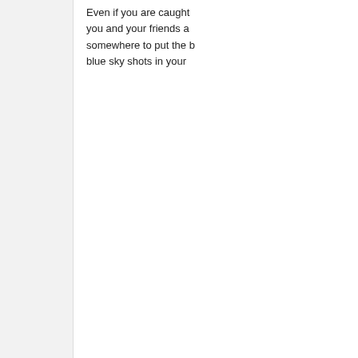Even if you are caught... you and your friends a... somewhere to put the b... blue sky shots in your...
at 01:46   6 comments:
Thursday, 25 June 2009
RIP - Michae